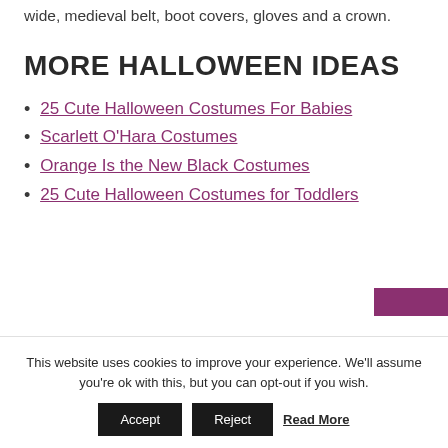wide, medieval belt, boot covers, gloves and a crown.
MORE HALLOWEEN IDEAS
25 Cute Halloween Costumes For Babies
Scarlett O'Hara Costumes
Orange Is the New Black Costumes
25 Cute Halloween Costumes for Toddlers
This website uses cookies to improve your experience. We'll assume you're ok with this, but you can opt-out if you wish. Accept Reject Read More